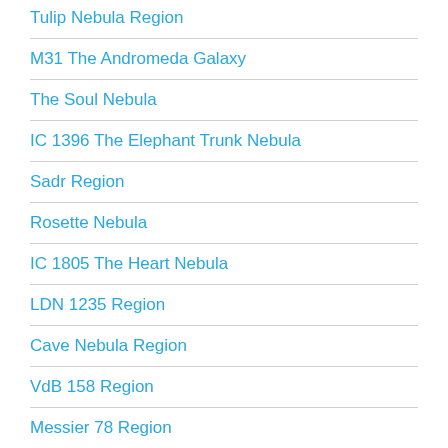Tulip Nebula Region
M31 The Andromeda Galaxy
The Soul Nebula
IC 1396 The Elephant Trunk Nebula
Sadr Region
Rosette Nebula
IC 1805 The Heart Nebula
LDN 1235 Region
Cave Nebula Region
VdB 158 Region
Messier 78 Region
North American + Pelican Region
VdB 152 Region